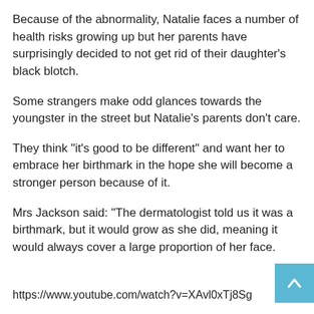Because of the abnormality, Natalie faces a number of health risks growing up but her parents have surprisingly decided to not get rid of their daughter's black blotch.
Some strangers make odd glances towards the youngster in the street but Natalie’s parents don’t care.
They think “it’s good to be different” and want her to embrace her birthmark in the hope she will become a stronger person because of it.
Mrs Jackson said: “The dermatologist told us it was a birthmark, but it would grow as she did, meaning it would always cover a large proportion of her face.
https://www.youtube.com/watch?v=XAvl0xTj8Sg